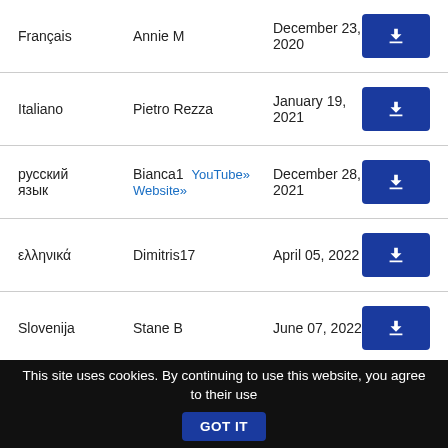| Language | Author | Date | Download |
| --- | --- | --- | --- |
| Français | Annie M | December 23, 2020 | ↓ |
| Italiano | Pietro Rezza | January 19, 2021 | ↓ |
| русский язык | Bianca1 YouTube» Website» | December 28, 2021 | ↓ |
| ελληνικά | Dimitris17 | April 05, 2022 | ↓ |
| Slovenija | Stane B | June 07, 2022 | ↓ |
This site uses cookies. By continuing to use this website, you agree to their use GOT IT